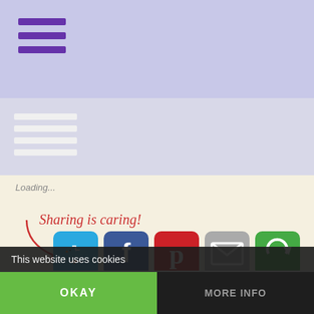Loading...
[Figure (infographic): Sharing is caring! with social share buttons: Twitter, Facebook, Pinterest, Email, and one other (green icon)]
Posted in Book Design, Readability, Typography | Tagged Adobe InDesign, auto leading, autoleading, Bernhard Modern, Futura, Leading, line spacing, Paragraph, Point (typography), setting up line
Leave a reply
This website uses cookies
OKAY    MORE INFO